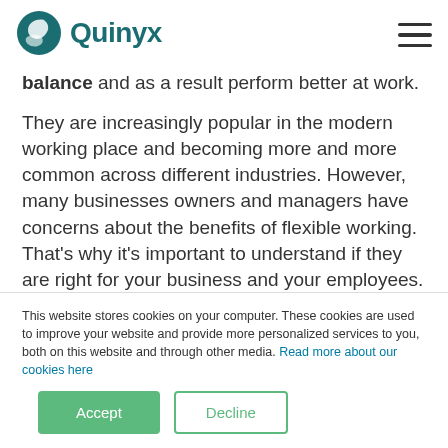Quinyx
balance and as a result perform better at work.
They are increasingly popular in the modern working place and becoming more and more common across different industries. However, many businesses owners and managers have concerns about the benefits of flexible working. That's why it's important to understand if they are right for your business and your employees.
This website stores cookies on your computer. These cookies are used to improve your website and provide more personalized services to you, both on this website and through other media. Read more about our cookies here
Accept
Decline